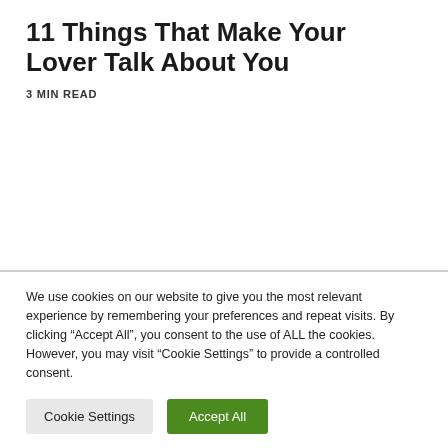11 Things That Make Your Lover Talk About You
3 MIN READ
We use cookies on our website to give you the most relevant experience by remembering your preferences and repeat visits. By clicking “Accept All”, you consent to the use of ALL the cookies. However, you may visit “Cookie Settings” to provide a controlled consent.
Cookie Settings
Accept All